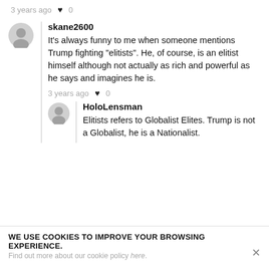3 years ago ♥ 0
skane2600
It's always funny to me when someone mentions Trump fighting "elitists". He, of course, is an elitist himself although not actually as rich and powerful as he says and imagines he is.
3 years ago ♥ 0
HoloLensman
Elitists refers to Globalist Elites. Trump is not a Globalist, he is a Nationalist.
WE USE COOKIES TO IMPROVE YOUR BROWSING EXPERIENCE.
Find out more about our cookie policy here.